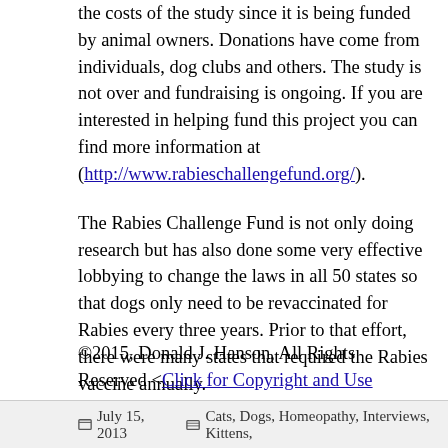the costs of the study since it is being funded by animal owners. Donations have come from individuals, dog clubs and others. The study is not over and fundraising is ongoing. If you are interested in helping fund this project you can find more information at (http://www.rabieschallengefund.org/).
The Rabies Challenge Fund is not only doing research but has also done some very effective lobbying to change the laws in all 50 states so that dogs only need to be revaccinated for Rabies every three years. Prior to that effort, there were many states that required the Rabies vaccine annually.
©2015, Donald J. Hanson, All Rights Reserved <Click for Copyright and Use Policy>
July 15, 2013    Cats, Dogs, Homeopathy, Interviews, Kittens,